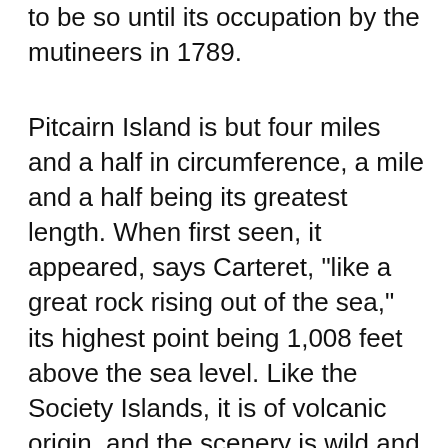to be so until its occupation by the mutineers in 1789.
Pitcairn Island is but four miles and a half in circumference, a mile and a half being its greatest length. When first seen, it appeared, says Carteret, "like a great rock rising out of the sea," its highest point being 1,008 feet above the sea level. Like the Society Islands, it is of volcanic origin, and the scenery is wild and picturesque. The cocoa-nut, the plantain, the bread-fruit, and the banyan grow luxuriantly, and the soil is favourable for the cultivation of vegetables and cereals. Lieutenant Shillibeer, who visited Pitcairn in the "Briton," in 1814, says, "the island has an exceedingly pretty appearance, and, I was informed by Christian, was fertile, and capable of being cultivated. The coast is